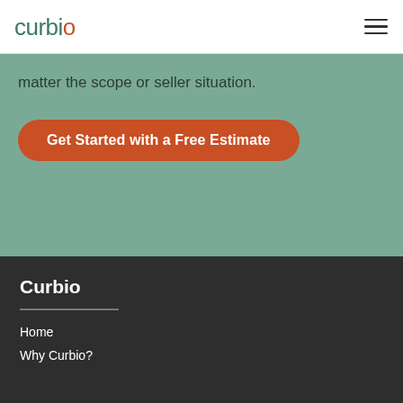curbio
matter the scope or seller situation.
Get Started with a Free Estimate
Curbio
Home
Why Curbio?